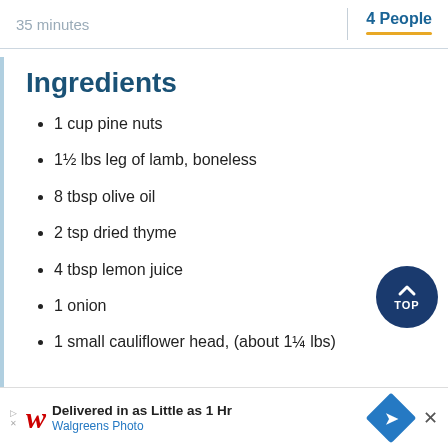35 minutes  |  4 People
Ingredients
1  cup pine nuts
1½  lbs leg of lamb, boneless
8  tbsp olive oil
2  tsp dried thyme
4  tbsp lemon juice
1  onion
1  small cauliflower head, (about 1¼ lbs)
[Figure (logo): Back to TOP circular button, dark navy blue]
[Figure (logo): Walgreens Photo advertisement banner: Delivered in as Little as 1 Hr, Walgreens Photo, with blue diamond navigation icon and X close button]